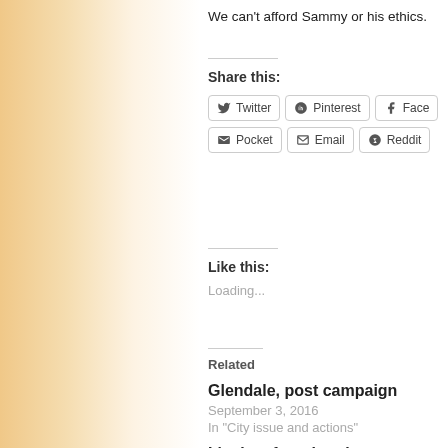We can't afford Sammy or his ethics.
Share this:
Twitter  Pinterest  Facebook  Pocket  Email  Reddit
Like this:
Loading...
Related
Glendale, post campaign
September 3, 2016
In "City issue and actions"
It's time for a break
June 26, 2015
In "City Council Actions"